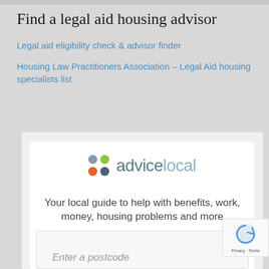Find a legal aid housing advisor
Legal aid eligibility check & advisor finder
Housing Law Practitioners Association – Legal Aid housing specialists list
[Figure (logo): Advice Local logo with four colored dots (gray, green, orange, dark gray) and the text 'advicelocal' in muted teal/blue tones]
Your local guide to help with benefits, work, money, housing problems and more
Enter a postcode